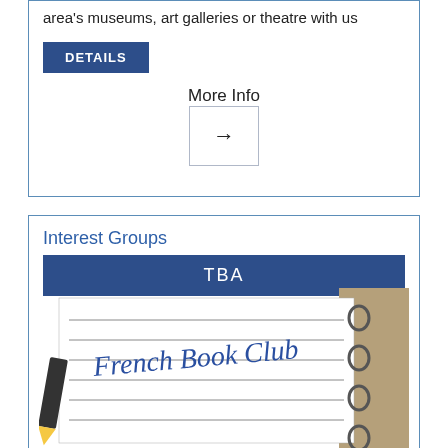area's museums, art galleries or theatre with us
DETAILS
More Info
[Figure (other): Arrow button pointing right inside a bordered box]
Interest Groups
TBA
[Figure (illustration): Illustration of a lined notepad with 'French Book Club' written in blue cursive handwriting, with a pencil and binder rings visible]